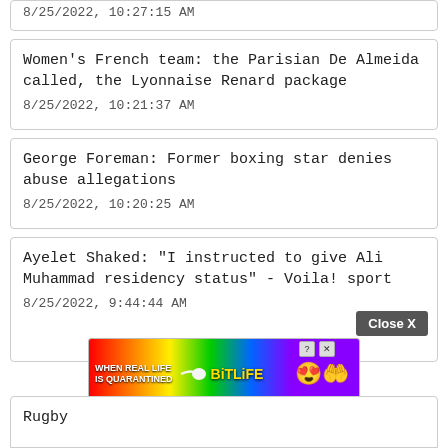8/25/2022, 10:27:15 AM
Women's French team: the Parisian De Almeida called, the Lyonnaise Renard package
8/25/2022, 10:21:37 AM
George Foreman: Former boxing star denies abuse allegations
8/25/2022, 10:20:25 AM
Ayelet Shaked: "I instructed to give Ali Muhammad residency status" - Voila! sport
8/25/2022, 9:44:44 AM
Rugby
[Figure (screenshot): BitLife advertisement banner: 'WHEN REAL LIFE IS QUARANTINED' with rainbow background and animated character icons. Includes close button and help/close icons.]